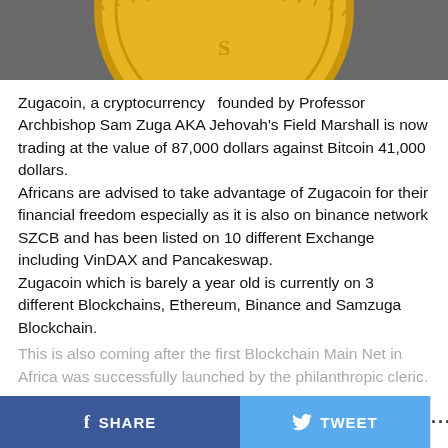[Figure (photo): Partial view of a gold coin from above against a grey background]
Zugacoin, a cryptocurrency  founded by Professor Archbishop Sam Zuga AKA Jehovah's Field Marshall is now trading at the value of 87,000 dollars against Bitcoin 41,000 dollars.
Africans are advised to take advantage of Zugacoin for their financial freedom especially as it is also on binance network SZCB and has been listed on 10 different Exchange including VinDAX and Pancakeswap.
Zugacoin which is barely a year old is currently on 3 different Blockchains, Ethereum, Binance and Samzuga Blockchain.
This is also coming after the first Blockchain Main Net in Africa was successfully launched by the philanthropic cleric.
SHARE   TWEET   ...